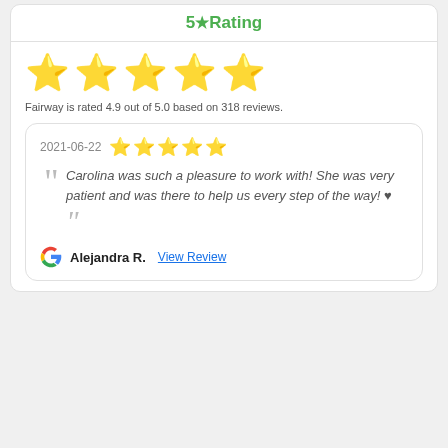5★ Rating
[Figure (illustration): Five large golden star icons in a row]
Fairway is rated 4.9 out of 5.0 based on 318 reviews.
2021-06-22  ★★★★★
Carolina was such a pleasure to work with! She was very patient and was there to help us every step of the way! ♥
Alejandra R.  View Review